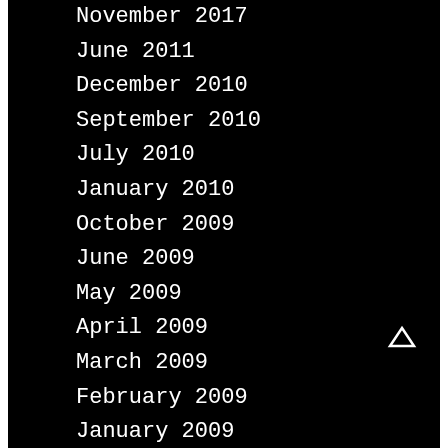November 2017
June 2011
December 2010
September 2010
July 2010
January 2010
October 2009
June 2009
May 2009
April 2009
March 2009
February 2009
January 2009
October 2008
September 2008
August 2008